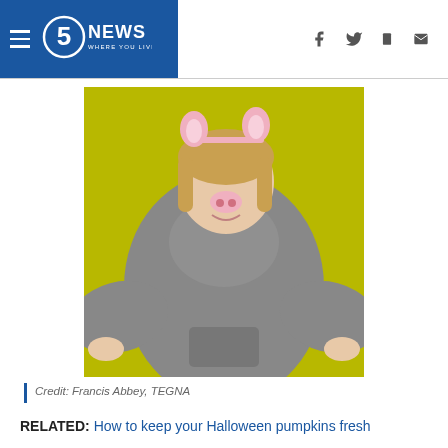5 NEWS WHERE YOU LIVE
[Figure (photo): Woman wearing a gray pig costume with pink pig ears headband and pig nose, posed against a yellow-green background with arms spread out]
Credit: Francis Abbey, TEGNA
RELATED: How to keep your Halloween pumpkins fresh
RELATED: Halloween health warning: Costume contact lenses also need a prescription